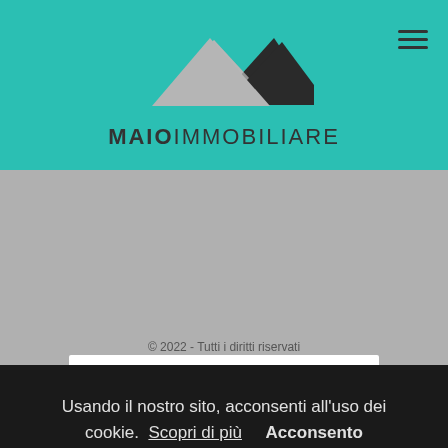[Figure (logo): MAIO Immobiliare logo with stylized mountain/house shapes in gray and dark, above the text MAIOIMMOBILIARE]
[Figure (logo): FIAIP - Federazione Italiana Agenti Immobiliari Professionali badge with golden dot-map of Italy on white background]
[Figure (infographic): Social media icons: Facebook, Instagram, Twitter, YouTube in dark gray]
© 2022 - Tutti i diritti riservati
Usando il nostro sito, acconsenti all'uso dei cookie.  Scopri di più     Acconsento